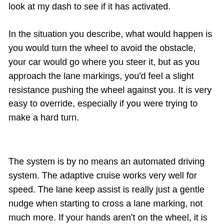look at my dash to see if it has activated.
In the situation you describe, what would happen is you would turn the wheel to avoid the obstacle, your car would go where you steer it, but as you approach the lane markings, you'd feel a slight resistance pushing the wheel against you. It is very easy to override, especially if you were trying to make a hard turn.
The system is by no means an automated driving system. The adaptive cruise works very well for speed. The lane keep assist is really just a gentle nudge when starting to cross a lane marking, not much more. If your hands aren't on the wheel, it is usually enough to keep you from crossing the lane, unless the road is turning. Without my hands on the wheel, though, it usually will start pointing the car towards the opposite lane marking. It doesn't keep